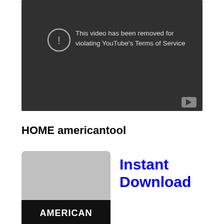[Figure (screenshot): YouTube video player showing an error message: 'This video has been removed for violating YouTube's Terms of Service'. Dark gray background with a circular exclamation icon on the left side of the text and a YouTube play button icon in the bottom right corner.]
HOME americantool
[Figure (photo): Photo of an American Tool branded product (appears to be packaging or a tool cover) with a gray top portion and a black bottom portion showing the beginning of the text 'AMERICAN'. Next to the image is bold blue text reading 'Instant Download'.]